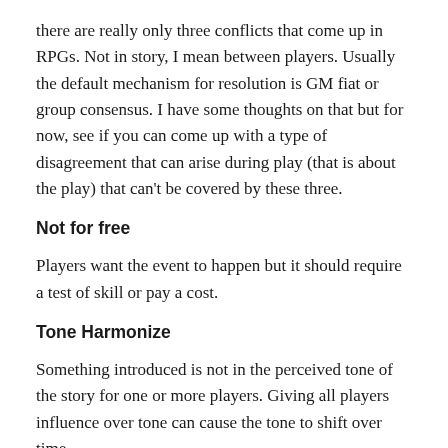there are really only three conflicts that come up in RPGs. Not in story, I mean between players. Usually the default mechanism for resolution is GM fiat or group consensus. I have some thoughts on that but for now, see if you can come up with a type of disagreement that can arise during play (that is about the play) that can't be covered by these three.
Not for free
Players want the event to happen but it should require a test of skill or pay a cost.
Tone Harmonize
Something introduced is not in the perceived tone of the story for one or more players. Giving all players influence over tone can cause the tone to shift over time.